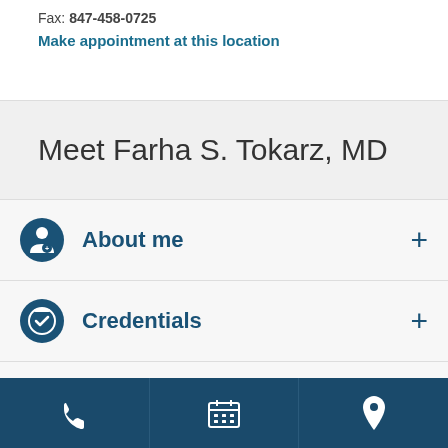Fax: 847-458-0725
Make appointment at this location
Meet Farha S. Tokarz, MD
About me
Credentials
[Figure (infographic): Bottom navigation bar with phone, calendar, and location pin icons on dark blue background]